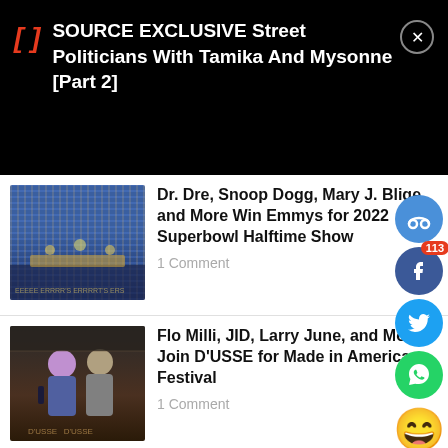SOURCE EXCLUSIVE Street Politicians With Tamika And Mysonne [Part 2]
Dr. Dre, Snoop Dogg, Mary J. Blige and More Win Emmys for 2022 Superbowl Halftime Show
1 Comment
Flo Milli, JID, Larry June, and More Join D'USSE for Made in America Festival
1 Comment
[Figure (screenshot): Partial article thumbnail with 'ALED' and 'God' text visible]